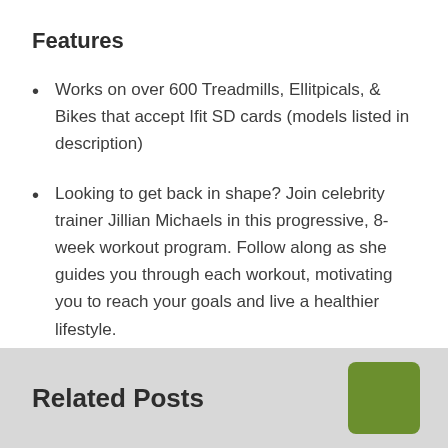Features
Works on over 600 Treadmills, Ellitpicals, & Bikes that accept Ifit SD cards (models listed in description)
Looking to get back in shape? Join celebrity trainer Jillian Michaels in this progressive, 8-week workout program. Follow along as she guides you through each workout, motivating you to reach your goals and live a healthier lifestyle.
Related Posts